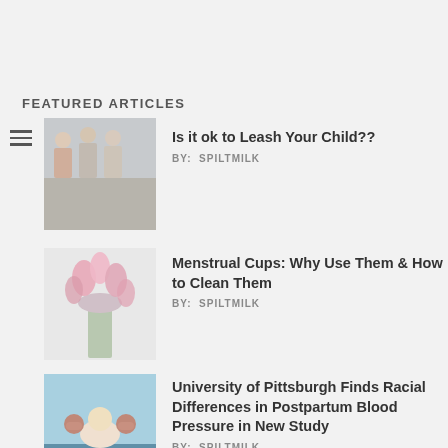FEATURED ARTICLES
[Figure (photo): Children outdoors wearing backpacks, walking in a group]
Is it ok to Leash Your Child??
BY:  SPILTMILK
[Figure (photo): Pink flowers in a glass vase on a white surface]
Menstrual Cups: Why Use Them & How to Clean Them
BY:  SPILTMILK
[Figure (photo): Person holding a baby overhead outdoors]
University of Pittsburgh Finds Racial Differences in Postpartum Blood Pressure in New Study
BY:  SPILTMILK